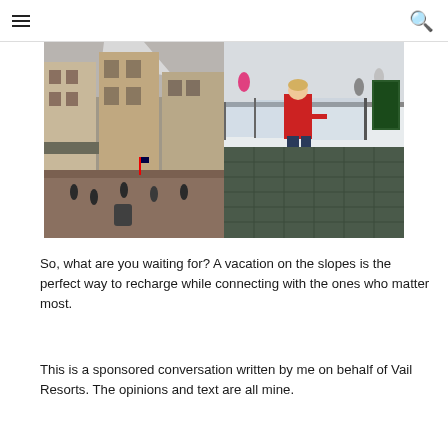≡ [search icon]
[Figure (photo): Two side-by-side photos: left shows a snowy ski village street with buildings and people walking; right shows a woman in a red jacket leaning on a railing at an outdoor ice skating rink.]
So, what are you waiting for? A vacation on the slopes is the perfect way to recharge while connecting with the ones who matter most.
This is a sponsored conversation written by me on behalf of Vail Resorts. The opinions and text are all mine.